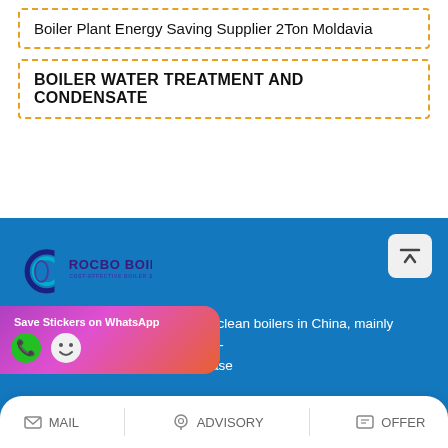Boiler Plant Energy Saving Supplier 2Ton Moldavia
BOILER WATER TREATMENT AND CONDENSATE
[Figure (logo): Rocbo Boiler logo — circular C-shape icon with 'ROCBO BOILER' in bold purple/dark blue and 'COST-EFFECTIVE BOILER SUPPLIER' subtitle, on blue background]
We are an integrated supplier of clean boilers in China, mainly el oil boilers, electric boilers, coal-rs, etc. If you are interested, please
[Figure (screenshot): WhatsApp Save Stickers popup overlay with phone and emoji icons]
MAIL   ADVISORY   OFFER